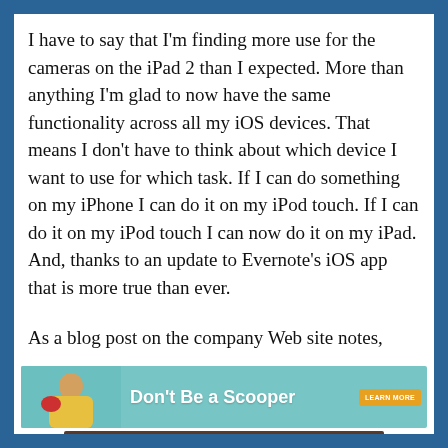I have to say that I'm finding more use for the cameras on the iPad 2 than I expected. More than anything I'm glad to now have the same functionality across all my iOS devices. That means I don't have to think about which device I want to use for which task. If I can do something on my iPhone I can do it on my iPod touch. If I can do it on my iPod touch I can now do it on my iPad. And, thanks to an update to Evernote's iOS app that is more true than ever.
As a blog post on the company Web site notes,
[Figure (infographic): Advertisement banner with teal background showing a woman in yellow top, 'libber robob' logo, 'Don't Be a Scooper' headline text, and an orange 'LEARN MORE' button]
[Figure (photo): Partial image showing what appears to be a logo with steam/heat waves symbol on a dark brown/wood background]